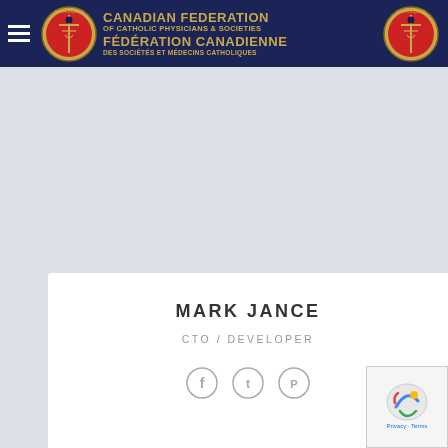Canadian Federation of Catholic Physicians & Societies / Fédération Canadienne des Sociétés et Médecins Catholiques
[Figure (logo): Organization logo with circular emblem on left and right, text in center on dark navy background]
MARK JANCE
CTO / DEVELOPER
[Figure (illustration): Social media icons: Facebook, Twitter, Pinterest]
[Figure (illustration): reCAPTCHA badge with Privacy and Terms links]